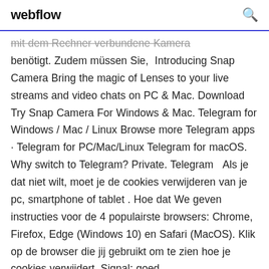webflow
mit dem Rechner verbundene Kamera benötigt. Zudem müssen Sie,  Introducing Snap Camera Bring the magic of Lenses to your live streams and video chats on PC & Mac. Download Try Snap Camera For Windows & Mac. Telegram for Windows / Mac / Linux Browse more Telegram apps · Telegram for PC/Mac/Linux Telegram for macOS. Why switch to Telegram? Private. Telegram   Als je dat niet wilt, moet je de cookies verwijderen van je pc, smartphone of tablet . Hoe dat We geven instructies voor de 4 populairste browsers: Chrome, Firefox, Edge (Windows 10) en Safari (MacOS). Klik op de browser die jij gebruikt om te zien hoe je cookies verwijdert. Signal: goed